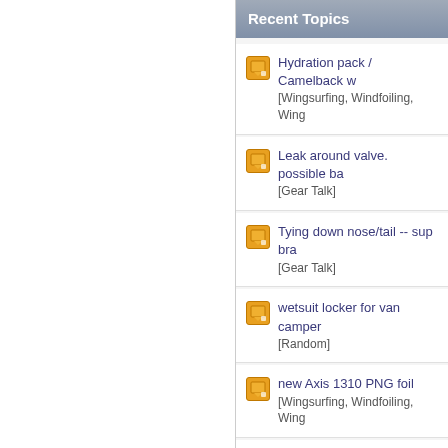Recent Topics
Hydration pack / Camelback w... [Wingsurfing, Windfoiling, Wing...]
Leak around valve. possible ba... [Gear Talk]
Tying down nose/tail -- sup bra... [Gear Talk]
wetsuit locker for van camper... [Random]
new Axis 1310 PNG foil [Wingsurfing, Windfoiling, Wing...]
Jibe -- Timing the Wing Transit... [Wingsurfing, Windfoiling, Wing...]
3d printing for wing foiling [Wingsurfing, Windfoiling, Wing...]
How does a carbon mast intera...